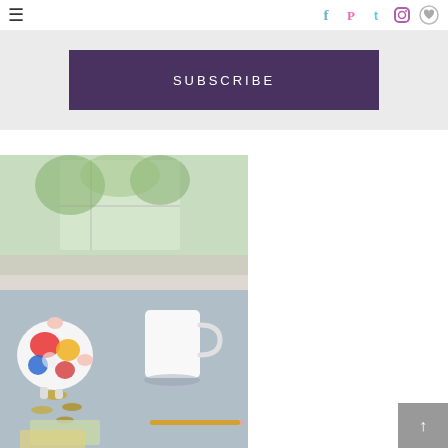≡  [social icons: facebook, pinterest, twitter, instagram, heart]
SUBSCRIBE
[Figure (photo): A desk scene with a colorful piggy bank, scattered coins and paper money, a white ceramic mug, and a pencil on a light blue surface, with a blurred window/greenery in the background.]